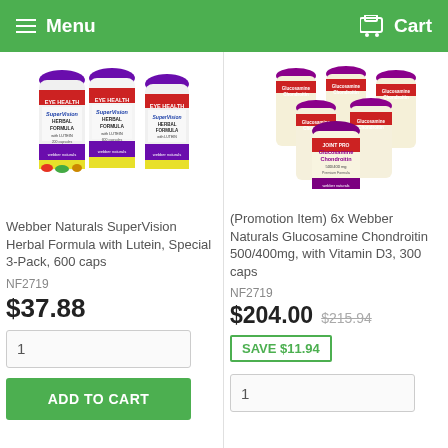Menu  Cart
[Figure (photo): Three bottles of Webber Naturals SuperVision Herbal Formula with Lutein, 200 capsules each, arranged in a group]
[Figure (photo): Six bottles of Webber Naturals Glucosamine Chondroitin 500/400mg with Vitamin D3 supplements arranged in a group]
Webber Naturals SuperVision Herbal Formula with Lutein, Special 3-Pack, 600 caps
(Promotion Item) 6x Webber Naturals Glucosamine Chondroitin 500/400mg, with Vitamin D3, 300 caps
NF2719
$37.88
NF2719
$204.00  $215.94
SAVE $11.94
1
ADD TO CART
1